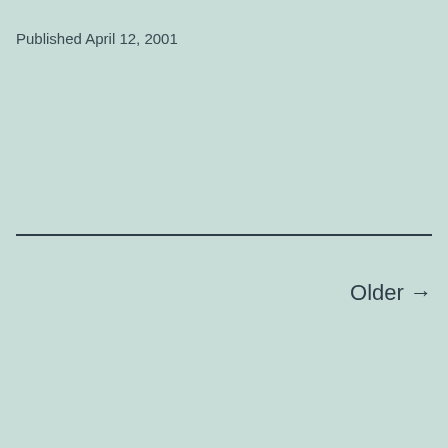Published April 12, 2001
Older →